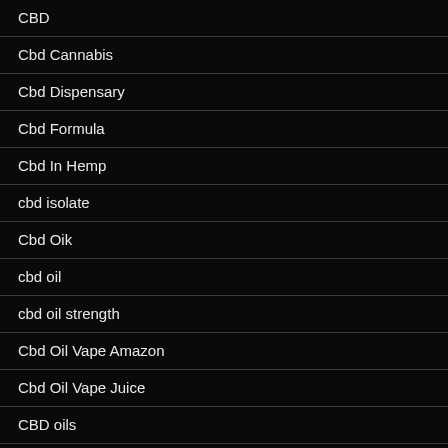CBD
Cbd Cannabis
Cbd Dispensary
Cbd Formula
Cbd In Hemp
cbd isolate
Cbd Oik
cbd oil
cbd oil strength
Cbd Oil Vape Amazon
Cbd Oil Vape Juice
CBD oils
CBD Oils and Gummies